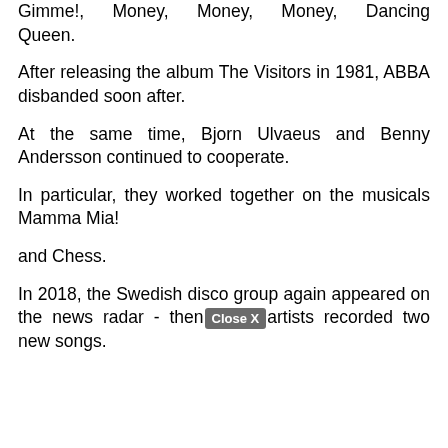Gimme!, Money, Money, Money, Dancing Queen.
After releasing the album The Visitors in 1981, ABBA disbanded soon after.
At the same time, Bjorn Ulvaeus and Benny Andersson continued to cooperate.
In particular, they worked together on the musicals Mamma Mia!
and Chess.
In 2018, the Swedish disco group again appeared on the news radar - then the artists recorded two new songs.